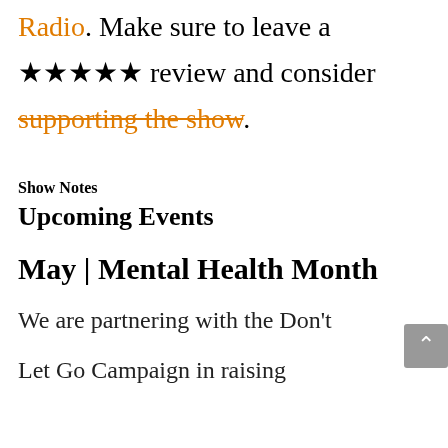Radio. Make sure to leave a ★★★★★ review and consider supporting the show.
Show Notes
Upcoming Events
May | Mental Health Month
We are partnering with the Don't Let Go Campaign in raising